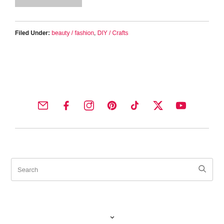[Figure (other): Gray image placeholder bar at top left]
Filed Under: beauty / fashion, DIY / Crafts
[Figure (infographic): Social media icons row: email, facebook, instagram, pinterest, tiktok, twitter, youtube — all in pink/red color]
Search